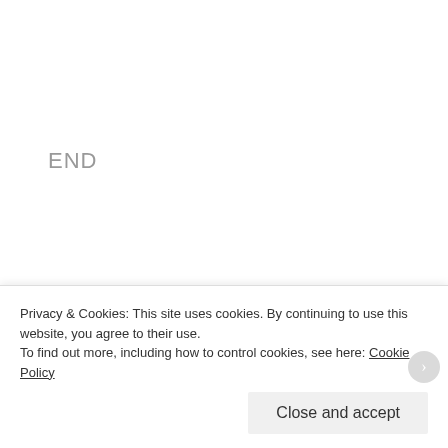END
——
Goran Sedlar was born and raised in a faraway land. He could be summed up as: an avid book reader, comic book devourer, movie buff(er) and a podcaster. Or better yet, if he were an inscription on a fortune
Privacy & Cookies: This site uses cookies. By continuing to use this website, you agree to their use. To find out more, including how to control cookies, see here: Cookie Policy
Close and accept